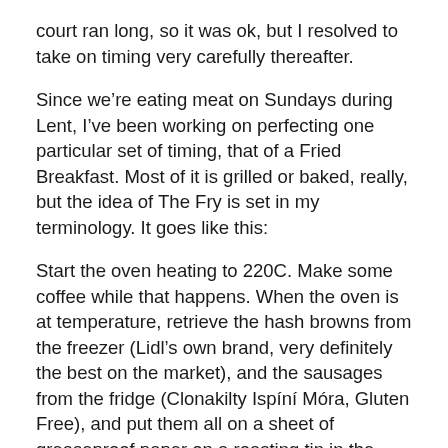court ran long, so it was ok, but I resolved to take on timing very carefully thereafter.
Since we’re eating meat on Sundays during Lent, I’ve been working on perfecting one particular set of timing, that of a Fried Breakfast. Most of it is grilled or baked, really, but the idea of The Fry is set in my terminology. It goes like this:
Start the oven heating to 220C. Make some coffee while that happens. When the oven is at temperature, retrieve the hash browns from the freezer (Lidl’s own brand, very definitely the best on the market), and the sausages from the fridge (Clonakilty Ispíní Móra, Gluten Free), and put them all on a sheet of greaseproof paper on a roasting tin in the oven. Set a timer for 18 minutes, and go drink the coffee and read